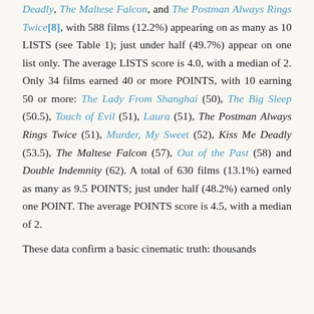Deadly, The Maltese Falcon, and The Postman Always Rings Twice[8], with 588 films (12.2%) appearing on as many as 10 LISTS (see Table 1); just under half (49.7%) appear on one list only. The average LISTS score is 4.0, with a median of 2. Only 34 films earned 40 or more POINTS, with 10 earning 50 or more: The Lady From Shanghai (50), The Big Sleep (50.5), Touch of Evil (51), Laura (51), The Postman Always Rings Twice (51), Murder, My Sweet (52), Kiss Me Deadly (53.5), The Maltese Falcon (57), Out of the Past (58) and Double Indemnity (62). A total of 630 films (13.1%) earned as many as 9.5 POINTS; just under half (48.2%) earned only one POINT. The average POINTS score is 4.5, with a median of 2.
These data confirm a basic cinematic truth: thousands